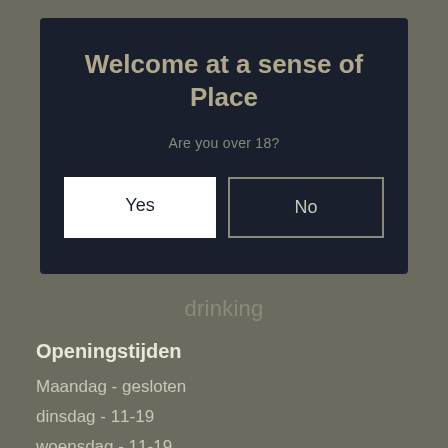Welcome at a sense of Place
Are you over 18?
Yes
No
drinking
Openingstijden
Maandag - gesloten
dinsdag - 11-19
woensdag - 11-19